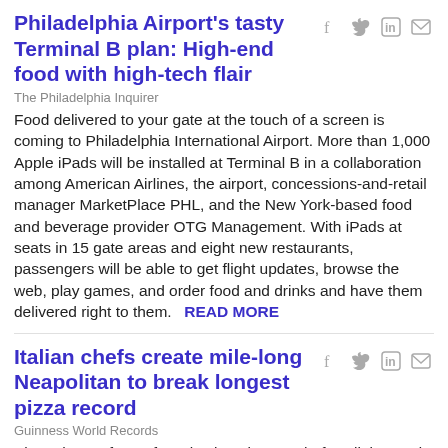Philadelphia Airport's tasty Terminal B plan: High-end food with high-tech flair
The Philadelphia Inquirer
Food delivered to your gate at the touch of a screen is coming to Philadelphia International Airport. More than 1,000 Apple iPads will be installed at Terminal B in a collaboration among American Airlines, the airport, concessions-and-retail manager MarketPlace PHL, and the New York-based food and beverage provider OTG Management. With iPads at seats in 15 gate areas and eight new restaurants, passengers will be able to get flight updates, browse the web, play games, and order food and drinks and have them delivered right to them. READ MORE
Italian chefs create mile-long Neapolitan to break longest pizza record
Guinness World Records
Along the seafront of Naples in Italy, 100 chefs collaborated to create a 1,853.88 metres (6082.2 feet / 1.15 miles) long Neapolitan, which Guinness World Records has just confirmed is officially the Longest pizza ever made. The recipe for record-breaking success included 2,000 kg of flour, 1,600 kg of